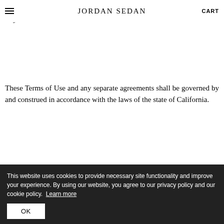JORDAN SEDAN | CART
own behalf. This section will survive after the Terms of Use terminate, or your use of the Site ends.
These Terms of Use and any separate agreements shall be governed by and construed in accordance with the laws of the state of California.
If you have any questions regarding these Terms
This website uses cookies to provide necessary site functionality and improve your experience. By using our website, you agree to our privacy policy and our cookie policy. Learn more
OK